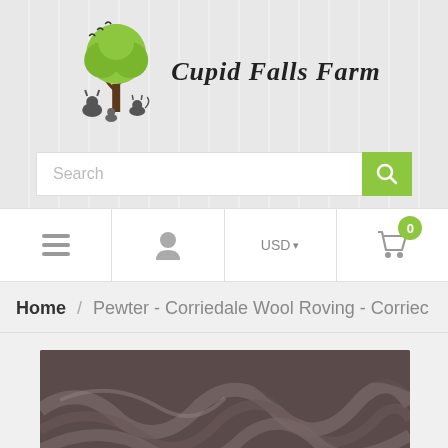[Figure (logo): Cupid Falls Farm logo with tree and animals illustration]
Search
USD  0
Home / Pewter - Corriedale Wool Roving - Corriec
[Figure (photo): Close-up photo of pewter/dark grey corriedale wool roving with fluffy fibrous texture]